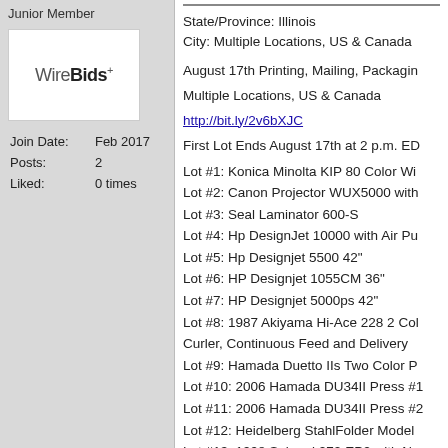Junior Member
[Figure (logo): WireBids+ logo in white box]
| Join Date: | Feb 2017 |
| Posts: | 2 |
| Liked: | 0 times |
State/Province: Illinois
City: Multiple Locations, US & Canada
August 17th Printing, Mailing, Packaging
Multiple Locations, US & Canada
http://bit.ly/2v6bXJC
First Lot Ends August 17th at 2 p.m. ED
Lot #1: Konica Minolta KIP 80 Color Wi...
Lot #2: Canon Projector WUX5000 with...
Lot #3: Seal Laminator 600-S
Lot #4: Hp DesignJet 10000 with Air Pu...
Lot #5: Hp Designjet 5500 42"
Lot #6: HP Designjet 1055CM 36"
Lot #7: HP Designjet 5000ps 42"
Lot #8: 1987 Akiyama Hi-Ace 228 2 Col Curler, Continuous Feed and Delivery
Lot #9: Hamada Duetto IIs Two Color P...
Lot #10: 2006 Hamada DU34II Press #1
Lot #11: 2006 Hamada DU34II Press #2
Lot #12: Heidelberg StahlFolder Model
Lot #13: 1998 Sakurai 272 EP2 with Ne...
Lot #14: AB Dick 970 with T Head, Kom...
Lot #15: Muller Martini Liberty, 6 Pocke...
Lot #16: Pitney Bowes 3144 Envelope M...
Lot #17: 1999 Book Crushing Perf...